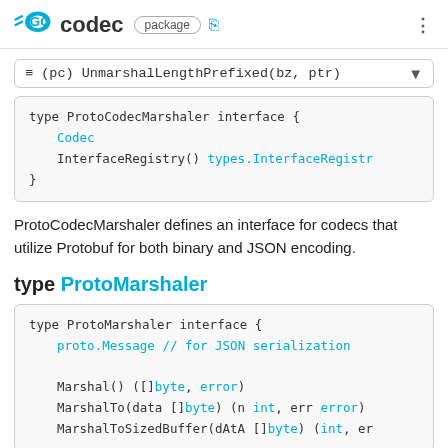GO codec package
≡ (pc) UnmarshalLengthPrefixed(bz, ptr)
[Figure (screenshot): Code block showing: type ProtoCodecMarshaler interface { Codec; InterfaceRegistry() types.InterfaceRegistry }]
ProtoCodecMarshaler defines an interface for codecs that utilize Protobuf for both binary and JSON encoding.
type ProtoMarshaler
[Figure (screenshot): Code block showing: type ProtoMarshaler interface { proto.Message // for JSON serialization; Marshal() ([]byte, error); MarshalTo(data []byte) (n int, err error); MarshalToSizedBuffer(dAtA []byte) (int, er]